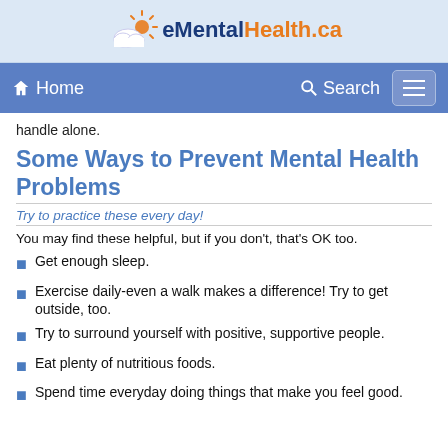eMentalHealth.ca
handle alone.
Some Ways to Prevent Mental Health Problems
Try to practice these every day!
You may find these helpful, but if you don't, that's OK too.
Get enough sleep.
Exercise daily-even a walk makes a difference! Try to get outside, too.
Try to surround yourself with positive, supportive people.
Eat plenty of nutritious foods.
Spend time everyday doing things that make you feel good.